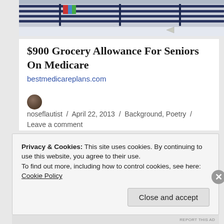[Figure (photo): Photo of a building exterior with metal railings/fence structure, dark blue horizontal bars, and a light-colored ledge at the bottom]
$900 Grocery Allowance For Seniors On Medicare
bestmedicareplans.com
noseflautist / April 22, 2013 / Background, Poetry / Leave a comment
Privacy & Cookies: This site uses cookies. By continuing to use this website, you agree to their use.
To find out more, including how to control cookies, see here:
Cookie Policy
Close and accept